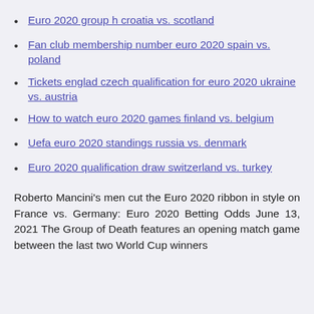Euro 2020 group h croatia vs. scotland
Fan club membership number euro 2020 spain vs. poland
Tickets englad czech qualification for euro 2020 ukraine vs. austria
How to watch euro 2020 games finland vs. belgium
Uefa euro 2020 standings russia vs. denmark
Euro 2020 qualification draw switzerland vs. turkey
Roberto Mancini's men cut the Euro 2020 ribbon in style on France vs. Germany: Euro 2020 Betting Odds June 13, 2021 The Group of Death features an opening match game between the last two World Cup winners